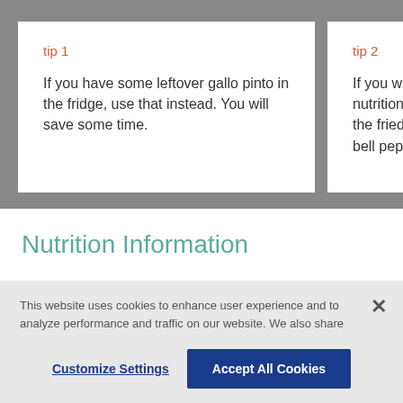tip 1
If you have some leftover gallo pinto in the fridge, use that instead. You will save some time.
tip 2
If you want to make a more nutritional version, you can replace the fried plantains with sautéed bell peppers w...
Nutrition Information
This website uses cookies to enhance user experience and to analyze performance and traffic on our website. We also share information about your use of our site with our social media, advertising and analytics partners. Link to Cookie Policy
Customize Settings
Accept All Cookies